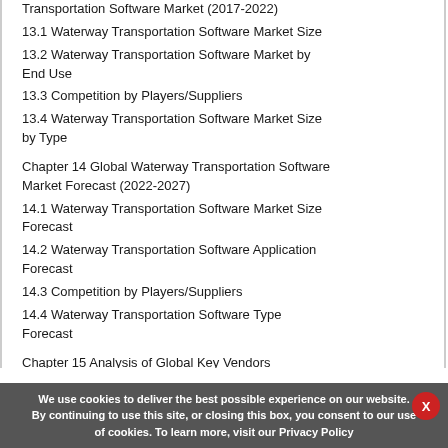Transportation Software Market (2017-2022)
13.1 Waterway Transportation Software Market Size
13.2 Waterway Transportation Software Market by End Use
13.3 Competition by Players/Suppliers
13.4 Waterway Transportation Software Market Size by Type
Chapter 14 Global Waterway Transportation Software Market Forecast (2022-2027)
14.1 Waterway Transportation Software Market Size Forecast
14.2 Waterway Transportation Software Application Forecast
14.3 Competition by Players/Suppliers
14.4 Waterway Transportation Software Type Forecast
Chapter 15 Analysis of Global Key Vendors
We use cookies to deliver the best possible experience on our website. By continuing to use this site, or closing this box, you consent to our use of cookies. To learn more, visit our Privacy Policy